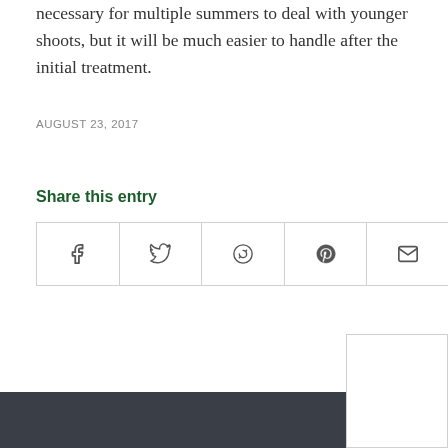necessary for multiple summers to deal with younger shoots, but it will be much easier to handle after the initial treatment.
AUGUST 23, 2017
Share this entry
[Figure (other): Row of five social share buttons: Facebook, Twitter, WhatsApp, Pinterest, Email]